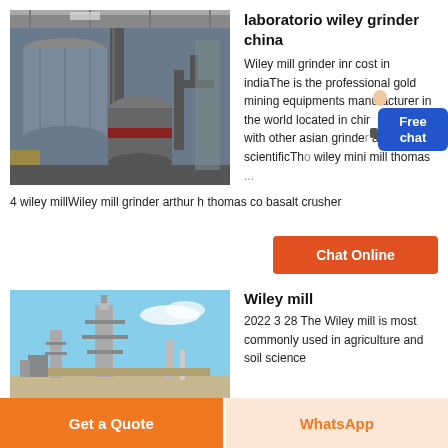[Figure (photo): Industrial grinding mill equipment inside a factory with large cylindrical structures and pipes]
laboratorio wiley grinder china
Wiley mill grinder inr cost in indiaThe is the professional gold mining equipments manufacturer in the world located in china india along with other asian grinders at thomas scientificThe wiley mini mill thomas ...
4 wiley millWiley mill grinder arthur h thomas co basalt crusher
Chat Online
[Figure (photo): Industrial plant or cement factory with tall structures against a blue sky]
Wiley mill
2022 3 28 The Wiley mill is most commonly used in agriculture and soil science
Get a Quote
WhatsApp